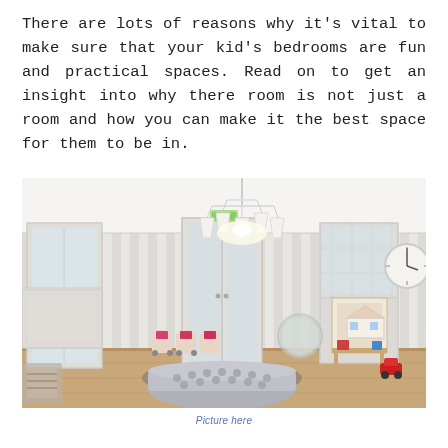There are lots of reasons why it's vital to make sure that your kid's bedrooms are fun and practical spaces. Read on to get an insight into why there room is not just a room and how you can make it the best space for them to be in.
[Figure (photo): A bright, airy children's room with striped wallpaper, a white chandelier, small chairs with pink cushions, a dollhouse on a rack, a silver tufted ottoman, wooden floors, large windows, and a clock on the wall.]
Picture here